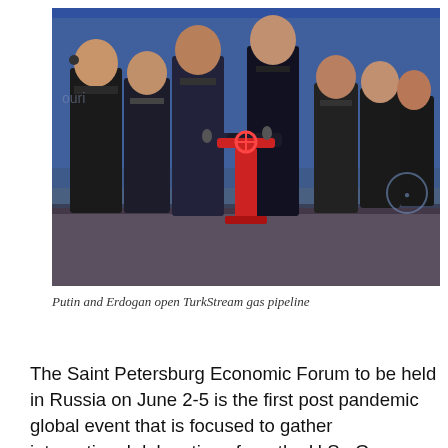[Figure (photo): Several men in dark suits standing at a red ceremonial valve/pipe fixture on a stage with blue backdrop, including Putin and Erdogan opening the TurkStream gas pipeline]
Putin and Erdogan open TurkStream gas pipeline
The Saint Petersburg Economic Forum to be held in Russia on June 2-5 is the first post pandemic global event that is focused to gather international delegations from the U.S., Germany, Italy, China, South Asia and the Middle East.